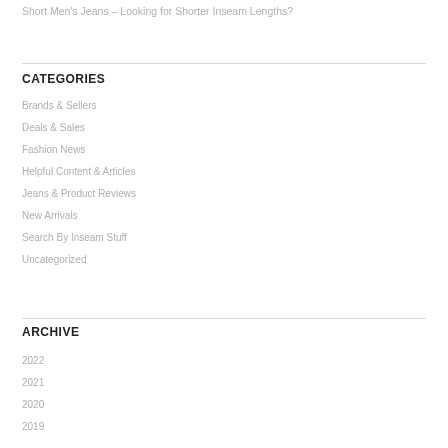Short Men's Jeans – Looking for Shorter Inseam Lengths?
CATEGORIES
Brands & Sellers
Deals & Sales
Fashion News
Helpful Content & Articles
Jeans & Product Reviews
New Arrivals
Search By Inseam Stuff
Uncategorized
ARCHIVE
2022
2021
2020
2019